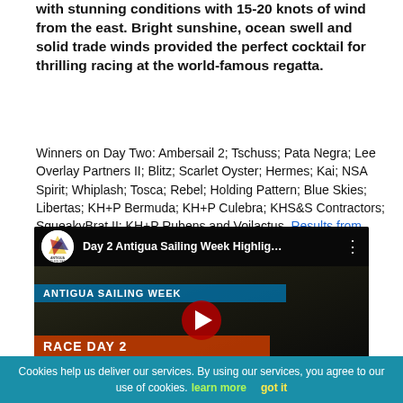with stunning conditions with 15-20 knots of wind from the east. Bright sunshine, ocean swell and solid trade winds provided the perfect cocktail for thrilling racing at the world-famous regatta.
Winners on Day Two: Ambersail 2; Tschuss; Pata Negra; Lee Overlay Partners II; Blitz; Scarlet Oyster; Hermes; Kai; NSA Spirit; Whiplash; Tosca; Rebel; Holding Pattern; Blue Skies; Libertas; KH+P Bermuda; KH+P Culebra; KHS&S Contractors; SqueakyBrat II; KH+P Rubens and Voilactus. Results from Antigua Sailing Week available here.
[Figure (screenshot): YouTube video thumbnail for 'Day 2 Antigua Sailing Week Highlig...' showing Antigua Sailing Week Race Day 2 with play button overlay]
Cookies help us deliver our services. By using our services, you agree to our use of cookies. learn more   got it